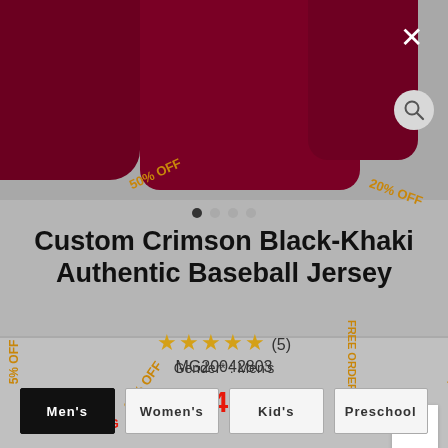[Figure (photo): Crimson/dark red baseball jerseys shown from top — partial view of jerseys on gray background]
Custom Crimson Black-Khaki Authentic Baseball Jersey
★★★★★ (5)
MG20042803
$24.99
FAST SHIPPING
In Stock
Gender* : Men's
Men's
Women's
Kid's
Preschool